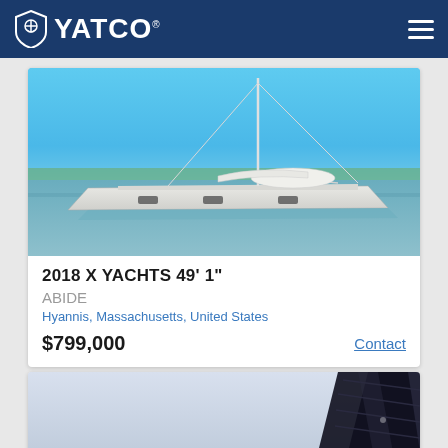YATCO
[Figure (photo): White sailing yacht (X Yachts 49'1") on water with blue sky, photographed from the side at a marina in Hyannis, Massachusetts]
2018 X YACHTS 49' 1"
ABIDE
Hyannis, Massachusetts, United States
$799,000
Contact
[Figure (photo): Partial view of a dark sailboat sail/mast against a light grey sky, bottom portion of a second yacht listing card]